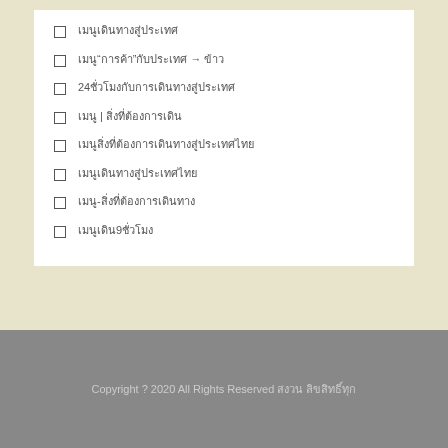เมนูเดินทางสู่ประเทศ
เมนู“การค้า”กับประเทศ → ข้าว
24ชั่วโมงกับการเดินทางสู่ประเทศ
เมนู | สิ่งที่ต้องการเดิน
เมนูสิ่งที่ต้องการเดินทางสู่ประเทศไทย
เมนูเดินทางสู่ประเทศไทย
เมนู-สิ่งที่ต้องการเดินทาง
เมนูเดิน9ชั่วโมง
Copyright ? 2020 All Rights Reserved สงวน ลิขสิทธิ์ทุก